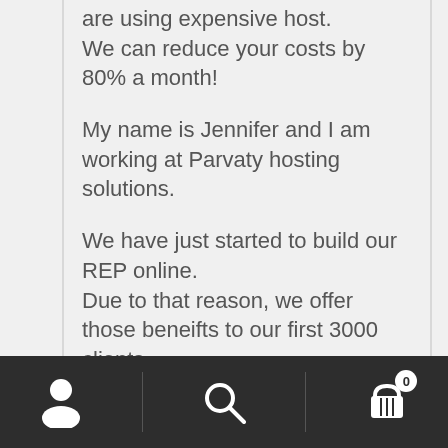are using expensive host.
We can reduce your costs by 80% a month!
My name is Jennifer and I am working at Parvaty hosting solutions.
We have just started to build our REP online. Due to that reason, we offer those beneifts to our first 3000 clients
In exchange for their honest review.
Here is the lifetime benefits that you can get as an early adopter of Parvaty hosting
1. Free Unlimited Visitors
navigation bar with person, search, and cart (0) icons